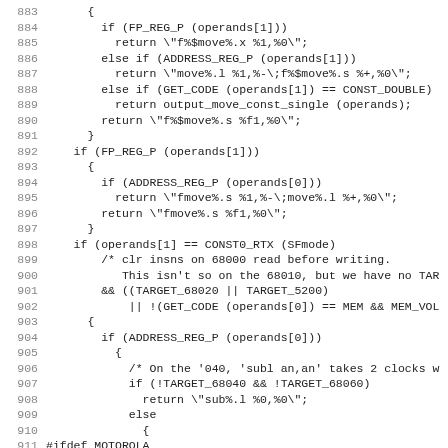Source code listing, lines 883-914, C/assembly code for 68000 series processor move operations